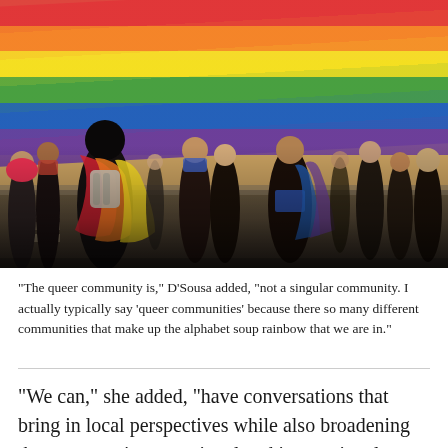[Figure (photo): People marching at a Pride parade, holding up a large rainbow flag above the crowd. View is from behind the marchers, showing colorful rainbow flag draped overhead and people walking in the street.]
“The queer community is,” D’Sousa added, “not a singular community. I actually typically say ‘queer communities’ because there so many different communities that make up the alphabet soup rainbow that we are in.”
“We can,” she added, “have conversations that bring in local perspectives while also broadening the conversation to national and international, which I think really reflects the people at the table so on our board and our membership and